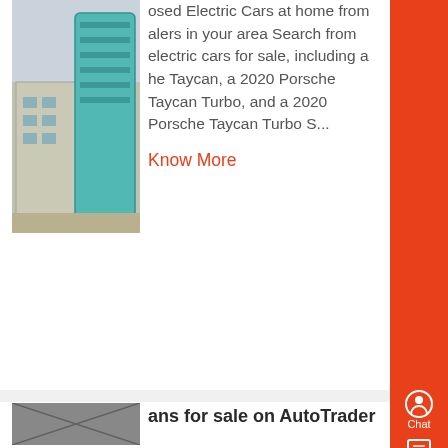[Figure (photo): Industrial building with teal/blue silo structure]
osed Electric Cars at home from alers in your area Search from electric cars for sale, including a he Taycan, a 2020 Porsche Taycan Turbo, and a 2020 Porsche Taycan Turbo S...
Know More
[Figure (photo): Gray/concrete surface close-up photo]
ans for sale on AutoTrader
V200 Acenta Panel Van 5dr to SWB N/A 109 ps 2016 66 reg SWB 13,958 miles Automatic eats Trade Seller 4 ROMSEY...
Know More
[Figure (photo): Interior airplane structure photo]
its Airplanes
ating 5 31999 View Details E-flite